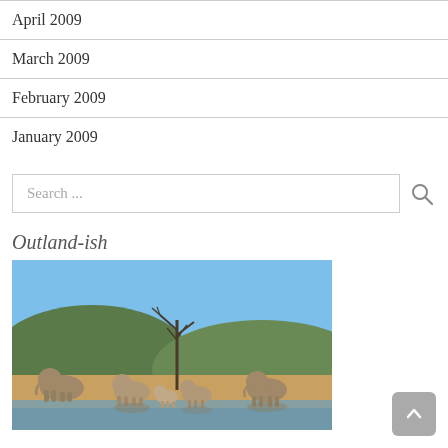April 2009
March 2009
February 2009
January 2009
Search ...
Outland-ish
[Figure (photo): A herd of elephants gathered at a watering hole in an African savanna landscape, with hills and a dead tree in the background under a blue sky.]